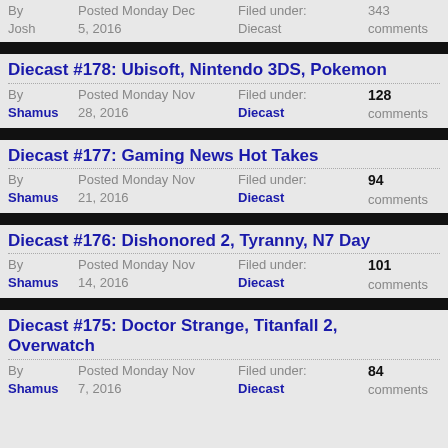By Josh | Posted Monday Dec 5, 2016 | Filed under: Diecast | 343 comments
Diecast #178: Ubisoft, Nintendo 3DS, Pokemon
By Shamus | Posted Monday Nov 28, 2016 | Filed under: Diecast | 128 comments
Diecast #177: Gaming News Hot Takes
By Shamus | Posted Monday Nov 21, 2016 | Filed under: Diecast | 94 comments
Diecast #176: Dishonored 2, Tyranny, N7 Day
By Shamus | Posted Monday Nov 14, 2016 | Filed under: Diecast | 101 comments
Diecast #175: Doctor Strange, Titanfall 2, Overwatch
By Shamus | Posted Monday Nov 7, 2016 | Filed under: Diecast | 84 comments